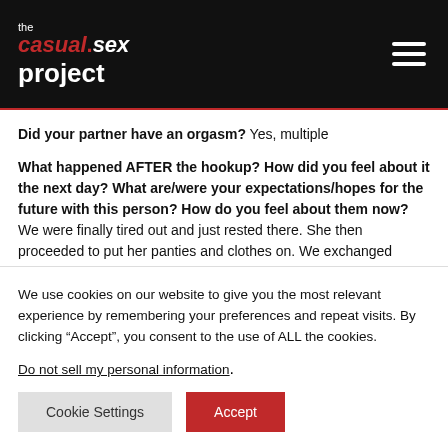the casual.sex project
Did your partner have an orgasm? Yes, multiple
What happened AFTER the hookup? How did you feel about it the next day? What are/were your expectations/hopes for the future with this person? How do you feel about them now? We were finally tired out and just rested there. She then proceeded to put her panties and clothes on. We exchanged numbers and she said we had to do this again. Finally we made out again (with tongue) for a
We use cookies on our website to give you the most relevant experience by remembering your preferences and repeat visits. By clicking “Accept”, you consent to the use of ALL the cookies.
Do not sell my personal information.
Cookie Settings
Accept